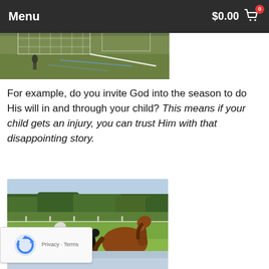Menu   $0.00  0
[Figure (photo): Soccer field with goal net visible, green grass, outdoor sports field]
For example, do you invite God into the season to do His will in and through your child? This means if your child gets an injury, you can trust Him with that disappointing story.
[Figure (photo): Horses grazing in a green pasture with trees in background. A white horse and a brown horse are prominent, with a dark horse in between. White fence visible in background.]
[Figure (photo): Partially visible third image at bottom, appears to be a blue/grey toned image]